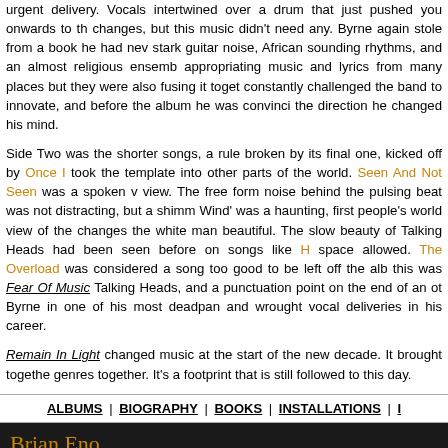urgent delivery. Vocals intertwined over a drum that just pushed you onwards to the changes, but this music didn't need any. Byrne again stole from a book he had never written, stark guitar noise, African sounding rhythms, and an almost religious ensemble, appropriating music and lyrics from many places but they were also fusing it together. Eno constantly challenged the band to innovate, and before the album he was convinced about the direction he changed his mind.
Side Two was the shorter songs, a rule broken by its final one, kicked off by Once In A Lifetime took the template into other parts of the world. Seen And Not Seen was a spoken word view. The free form noise behind the pulsing beat was not distracting, but a shimmer. 'Listening Wind' was a haunting, first people's world view of the changes the white man had, beautiful. The slow beauty of Talking Heads had been seen before on songs like Heaven, space allowed. The Overload was considered a song too good to be left off the album, this was Fear Of Music Talking Heads, and a punctuation point on the end of an otherwise Byrne in one of his most deadpan and wrought vocal deliveries in his career.
Remain In Light changed music at the start of the new decade. It brought together genres together. It's a footprint that is still followed to this day.
ALBUMS | BIOGRAPHY | BOOKS | INSTALLATIONS | I...
Brian Eno
[Figure (other): Album product card: FOREVERANDEVERNOMORE[LP] by Brian Eno, Vinyl Oct 14 2022, $32.99 (was $35.98), Prime eligible]
FOREVERANDEVERNOMORE[LP] By Brian Eno (Vinyl - Oct 14, 2022) $32.99 $35.98 prime